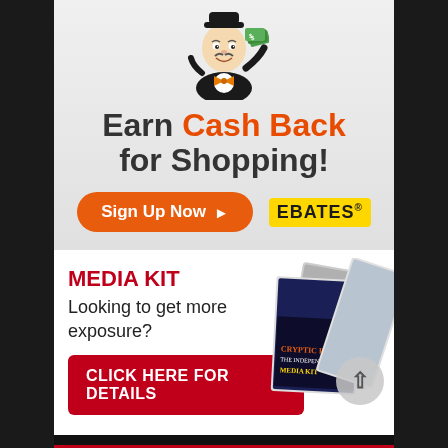[Figure (illustration): Monopoly man cartoon character holding a fan of dollar bills, wearing a tuxedo and orange bow tie]
Earn Cash Back for Shopping!
[Figure (infographic): Orange rounded button with text 'Sign Up Now' and right-arrow, next to yellow Ebates logo badge]
MEDIA KIT
Looking to get more exposure?
[Figure (illustration): Stacked media kit booklets/magazines showing Cryptic Rock podcast media kit cover]
CLICK HERE FOR DETAILS